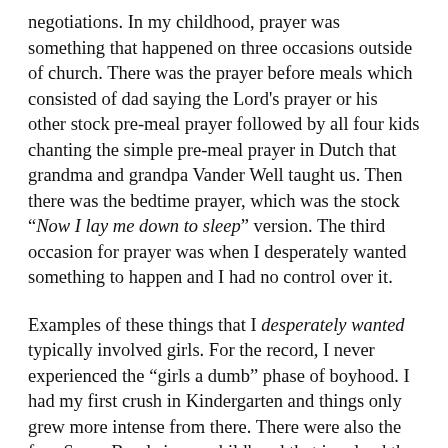negotiations. In my childhood, prayer was something that happened on three occasions outside of church. There was the prayer before meals which consisted of dad saying the Lord's prayer or his other stock pre-meal prayer followed by all four kids chanting the simple pre-meal prayer in Dutch that grandma and grandpa Vander Well taught us. Then there was the bedtime prayer, which was the stock "Now I lay me down to sleep" version. The third occasion for prayer was when I desperately wanted something to happen and I had no control over it.
Examples of these things that I desperately wanted typically involved girls. For the record, I never experienced the "girls a dumb" phase of boyhood. I had my first crush in Kindergarten and things only grew more intense from there. There were also the four Super Bowls in my childhood that involved the Minnesota Vikings. Those were, perhaps, the most desperate contract negotiations with God of all time. History will tell you how that worked out for me. I'm sure I made God all sorts of